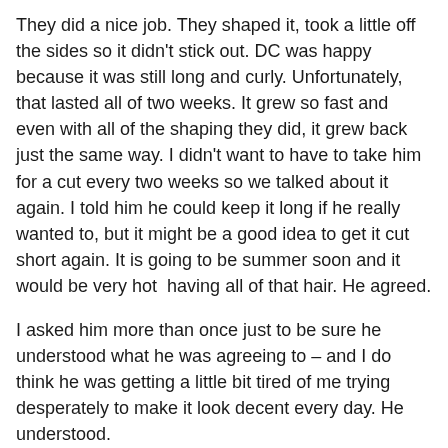They did a nice job. They shaped it, took a little off the sides so it didn't stick out. DC was happy because it was still long and curly. Unfortunately, that lasted all of two weeks. It grew so fast and even with all of the shaping they did, it grew back just the same way. I didn't want to have to take him for a cut every two weeks so we talked about it again. I told him he could keep it long if he really wanted to, but it might be a good idea to get it cut short again. It is going to be summer soon and it would be very hot  having all of that hair. He agreed.
I asked him more than once just to be sure he understood what he was agreeing to – and I do think he was getting a little bit tired of me trying desperately to make it look decent every day. He understood.
Yesterday he went back to get a haircut. It was a longer version of the 'Dad-cut' but it is still very short. He was happy with the cut and also happy I think, that this time it was his decision.
[Figure (photo): A photograph showing a person with short dark hair, partially visible, with a warm background.]